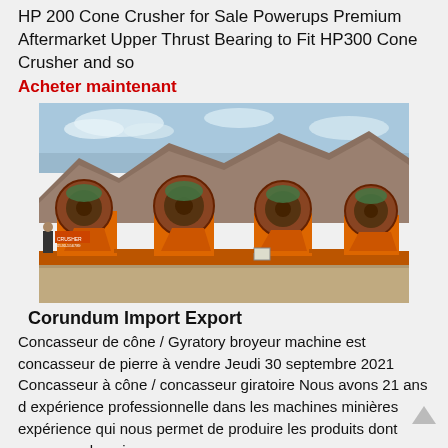HP 200 Cone Crusher for Sale Powerups Premium Aftermarket Upper Thrust Bearing to Fit HP300 Cone Crusher and so
Acheter maintenant
[Figure (photo): Orange industrial cone/gyratory crushers lined up on a job site with rocky hill and sky background]
Corundum Import Export
Concasseur de cône / Gyratory broyeur machine est concasseur de pierre à vendre Jeudi 30 septembre 2021 Concasseur à cône / concasseur giratoire Nous avons 21 ans d expérience professionnelle dans les machines minières expérience qui nous permet de produire les produits dont vous avez besoin.